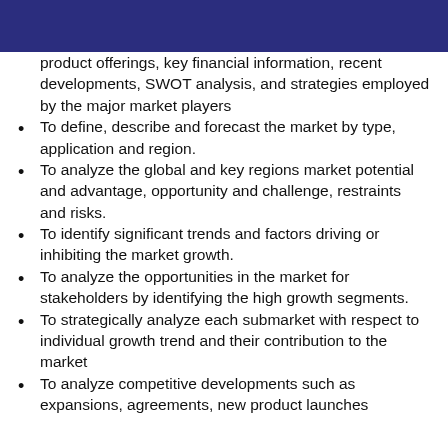product offerings, key financial information, recent developments, SWOT analysis, and strategies employed by the major market players
To define, describe and forecast the market by type, application and region.
To analyze the global and key regions market potential and advantage, opportunity and challenge, restraints and risks.
To identify significant trends and factors driving or inhibiting the market growth.
To analyze the opportunities in the market for stakeholders by identifying the high growth segments.
To strategically analyze each submarket with respect to individual growth trend and their contribution to the market
To analyze competitive developments such as expansions, agreements, new product launches